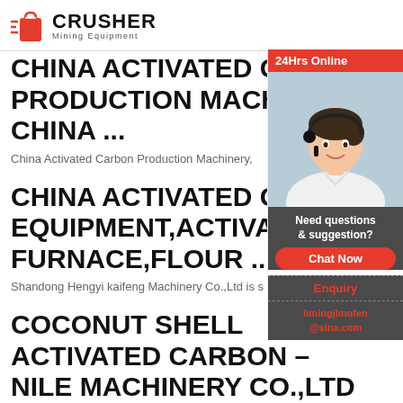[Figure (logo): Crusher Mining Equipment logo with red shopping bag icon and bold text]
CHINA ACTIVATED CARBON PRODUCTION MACHINERY – CHINA ...
China Activated Carbon Production Machinery,
CHINA ACTIVATED CA EQUIPMENT,ACTIVATE FURNACE,FLOUR ...
Shandong Hengyi kaifeng Machinery Co.,Ltd is s
COCONUT SHELL ACTIVATED CARBON – NILE MACHINERY CO.,LTD
[Figure (infographic): 24Hrs Online sidebar with customer service representative photo, Chat Now button, Enquiry link, and email limingjlmofen@sina.com]